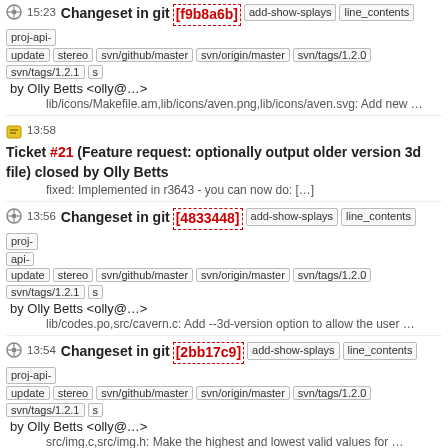15:23 Changeset in git [f9b8a6b] add-show-splays line_contents proj-api-update stereo svn/github/master svn/origin/master svn/tags/1.2.0 svn/tags/1.2.1 s by Olly Betts <olly@...> lib/icons/Makefile.am,lib/icons/aven.png,lib/icons/aven.svg: Add new ...
13:58 Ticket #21 (Feature request: optionally output older version 3d file) closed by Olly Betts fixed: Implemented in r3643 - you can now do: [...]
13:56 Changeset in git [4833448] add-show-splays line_contents proj-api-update stereo svn/github/master svn/origin/master svn/tags/1.2.0 svn/tags/1.2.1 s by Olly Betts <olly@...> lib/codes.po,src/cavern.c: Add --3d-version option to allow the user ...
13:54 Changeset in git [2bb17c9] add-show-splays line_contents proj-api-update stereo svn/github/master svn/origin/master svn/tags/1.2.0 svn/tags/1.2.1 s by Olly Betts <olly@...> src/img.c,src/img.h: Make the highest and lowest valid values for ...
06:49 Changeset in git [a6e8d45] add-show-splays line_contents proj-api-update stereo svn/github/master svn/origin/master svn/tags/1.2.0 svn/tags/1.2.1 s by Olly Betts <olly@...> src/aventreectrl.cc,src/guicontrol.cc,src/mainfrm.cc: Don't use ...
04:37 Changeset in git [6001bc1] add-show-splays line_contents proj-api-update stereo svn/github/master svn/origin/master svn/tags/1.2.0 svn/tags/1.2.1 s by Olly Betts <olly@...>